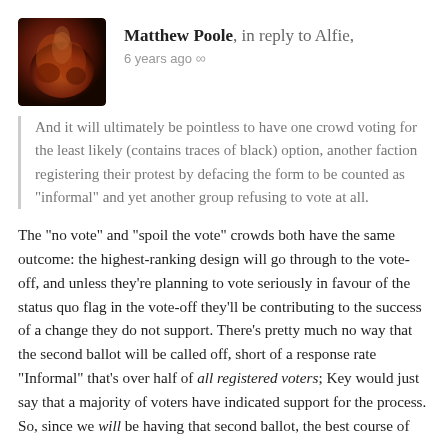Matthew Poole, in reply to Alfie, 6 years ago
And it will ultimately be pointless to have one crowd voting for the least likely (contains traces of black) option, another faction registering their protest by defacing the form to be counted as “informal” and yet another group refusing to vote at all.
The “no vote” and “spoil the vote” crowds both have the same outcome: the highest-ranking design will go through to the vote-off, and unless they’re planning to vote seriously in favour of the status quo flag in the vote-off they’ll be contributing to the success of a change they do not support. There’s pretty much no way that the second ballot will be called off, short of a response rate “Informal” that’s over half of all registered voters; Key would just say that a majority of voters have indicated support for the process. So, since we will be having that second ballot, the best course of